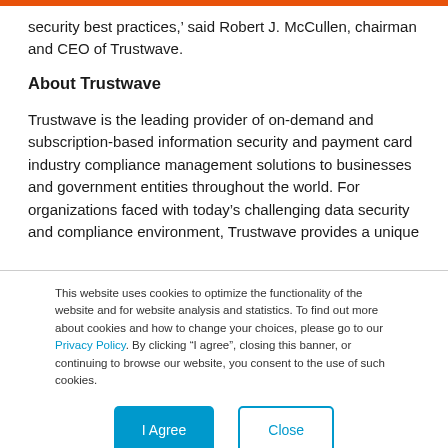security best practices,’ said Robert J. McCullen, chairman and CEO of Trustwave.
About Trustwave
Trustwave is the leading provider of on-demand and subscription-based information security and payment card industry compliance management solutions to businesses and government entities throughout the world. For organizations faced with today’s challenging data security and compliance environment, Trustwave provides a unique
This website uses cookies to optimize the functionality of the website and for website analysis and statistics. To find out more about cookies and how to change your choices, please go to our Privacy Policy. By clicking "I agree", closing this banner, or continuing to browse our website, you consent to the use of such cookies.